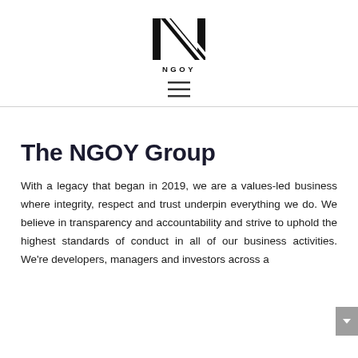[Figure (logo): NGOY Group logo — stylized black letter N with diagonal stripes, with 'NGOY' text below in spaced uppercase letters]
[Figure (other): Hamburger menu icon — three horizontal lines]
The NGOY Group
With a legacy that began in 2019, we are a values-led business where integrity, respect and trust underpin everything we do. We believe in transparency and accountability and strive to uphold the highest standards of conduct in all of our business activities. We're developers, managers and investors across a